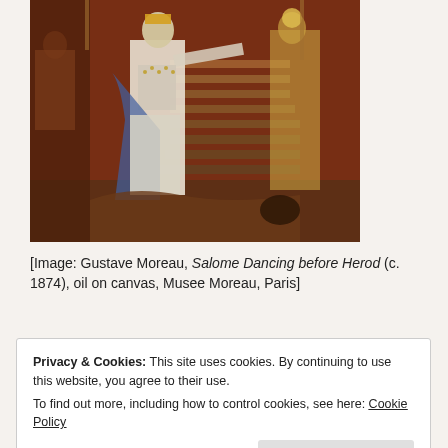[Figure (photo): Painting by Gustave Moreau: Salome Dancing before Herod (c. 1874), oil on canvas, Musee Moreau, Paris. Shows a bejeweled woman in white with arm outstretched, standing before a richly decorated interior with stairs and figures.]
[Image: Gustave Moreau, Salome Dancing before Herod (c. 1874), oil on canvas, Musee Moreau, Paris]
Privacy & Cookies: This site uses cookies. By continuing to use this website, you agree to their use. To find out more, including how to control cookies, see here: Cookie Policy